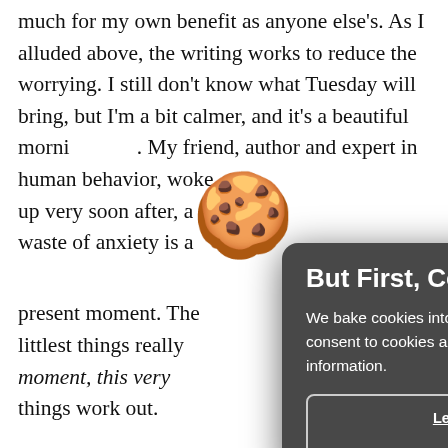much for my own benefit as anyone else's. As I alluded above, the writing works to reduce the worrying. I still don't know what Tuesday will bring, but I'm a bit calmer, and it's a beautiful morning. My friend, author and expert in huma... up very s... waste of ... present m... littlest t... moment, ... things w...
[Figure (illustration): Cookie emoji (🍪) overlapping text and modal dialog]
But First, Cookies! We bake cookies into our site to provide you with the best experience. By using our site, you consent to cookies and tracking. They help us find site issues and bring you the most relevant information.
Learn More   Accept & Continue
Thanks f... on the ot...
For more... clear of w...
see "Mindfulness Matters" in Part 3.